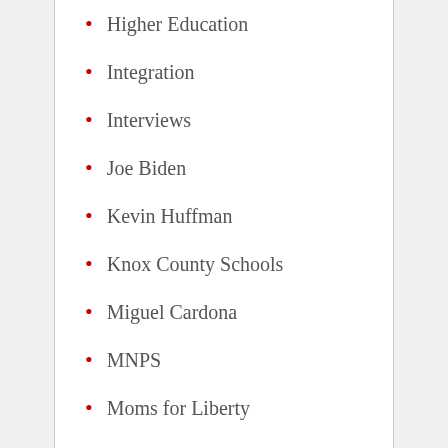Higher Education
Integration
Interviews
Joe Biden
Kevin Huffman
Knox County Schools
Miguel Cardona
MNPS
Moms for Liberty
NAEP
opinion piece
Parent Trigger
Pay for Performance